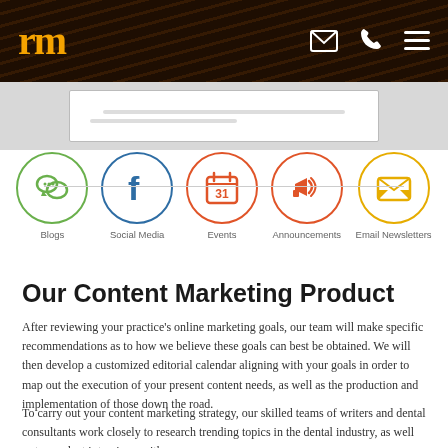rm
[Figure (screenshot): Partial screenshot of a webpage shown at top of page]
[Figure (infographic): Five circular icons in a row connected by a line: Blogs (green chat bubbles), Social Media (blue Facebook f), Events (red calendar with 31), Announcements (red megaphone), Email Newsletters (gold envelope). Each icon is in a circle with a matching border color.]
Our Content Marketing Product
After reviewing your practice's online marketing goals, our team will make specific recommendations as to how we believe these goals can best be obtained. We will then develop a customized editorial calendar aligning with your goals in order to map out the execution of your present content needs, as well as the production and implementation of those down the road.
To carry out your content marketing strategy, our skilled teams of writers and dental consultants work closely to research trending topics in the dental industry, as well as to conduct interviews with you